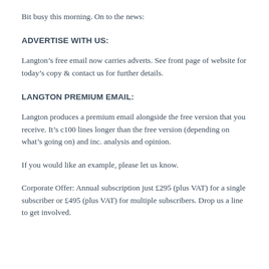Bit busy this morning. On to the news:
ADVERTISE WITH US:
Langton’s free email now carries adverts. See front page of website for today’s copy & contact us for further details.
LANGTON PREMIUM EMAIL:
Langton produces a premium email alongside the free version that you receive. It’s c100 lines longer than the free version (depending on what’s going on) and inc. analysis and opinion.
If you would like an example, please let us know.
Corporate Offer: Annual subscription just £295 (plus VAT) for a single subscriber or £495 (plus VAT) for multiple subscribers. Drop us a line to get involved.